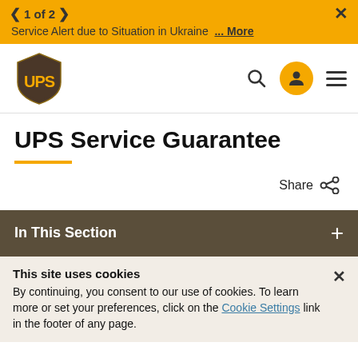< 1 of 2 >  X  Service Alert due to Situation in Ukraine ... More
[Figure (logo): UPS shield logo in brown and yellow]
Share
UPS Service Guarantee
In This Section
This site uses cookies
By continuing, you consent to our use of cookies. To learn more or set your preferences, click on the Cookie Settings link in the footer of any page.